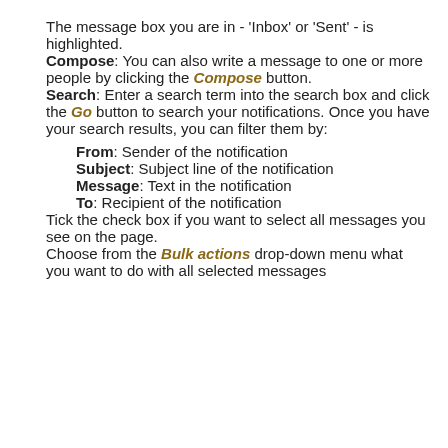The message box you are in - 'Inbox' or 'Sent' - is highlighted.
Compose: You can also write a message to one or more people by clicking the Compose button.
Search: Enter a search term into the search box and click the Go button to search your notifications. Once you have your search results, you can filter them by:
From: Sender of the notification
Subject: Subject line of the notification
Message: Text in the notification
To: Recipient of the notification
Tick the check box if you want to select all messages you see on the page.
Choose from the Bulk actions drop-down menu what you want to do with all selected messages